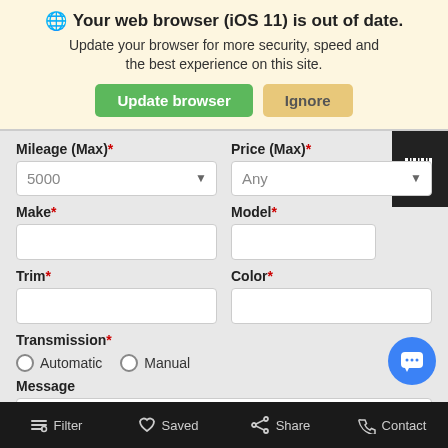🌐 Your web browser (iOS 11) is out of date. Update your browser for more security, speed and the best experience on this site.
Update browser | Ignore
Mileage (Max)* | Price (Max)*
5000 | Any
Make* | Model*
Trim* | Color*
Transmission*
Automatic | Manual
Message
Filter | Saved | Share | Contact